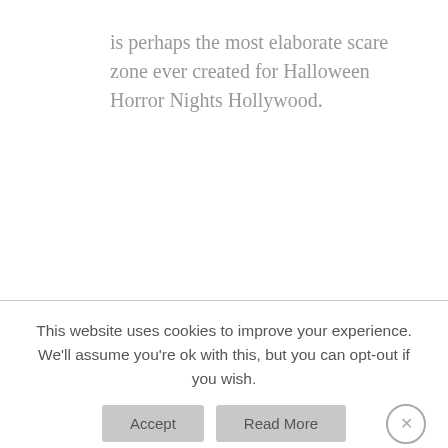is perhaps the most elaborate scare zone ever created for Halloween Horror Nights Hollywood.
This website uses cookies to improve your experience. We'll assume you're ok with this, but you can opt-out if you wish.